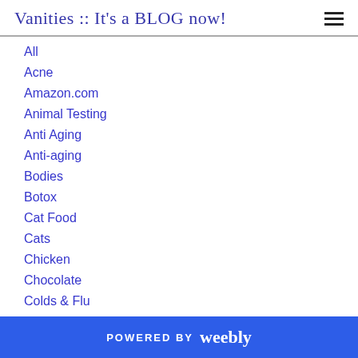Vanities :: It's a BLOG now!
All
Acne
Amazon.com
Animal Testing
Anti Aging
Anti-aging
Bodies
Botox
Cat Food
Cats
Chicken
Chocolate
Colds & Flu
Dove
POWERED BY weebly